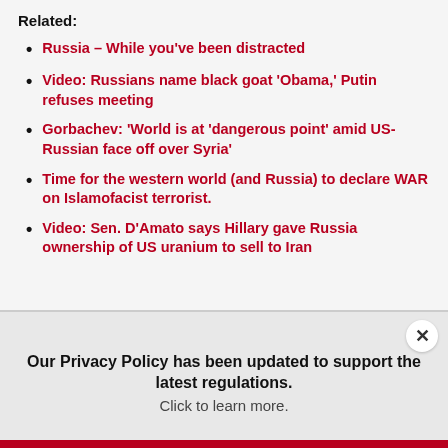Related:
Russia – While you've been distracted
Video: Russians name black goat 'Obama,' Putin refuses meeting
Gorbachev: 'World is at 'dangerous point' amid US-Russian face off over Syria'
Time for the western world (and Russia) to declare WAR on Islamofacist terrorist.
Video: Sen. D'Amato says Hillary gave Russia ownership of US uranium to sell to Iran
Our Privacy Policy has been updated to support the latest regulations. Click to learn more.